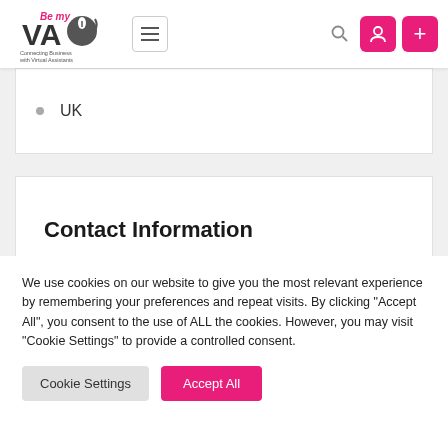Be My VA — Connecting Business with Virtual Assistants
UK
Contact Information
We use cookies on our website to give you the most relevant experience by remembering your preferences and repeat visits. By clicking "Accept All", you consent to the use of ALL the cookies. However, you may visit "Cookie Settings" to provide a controlled consent.